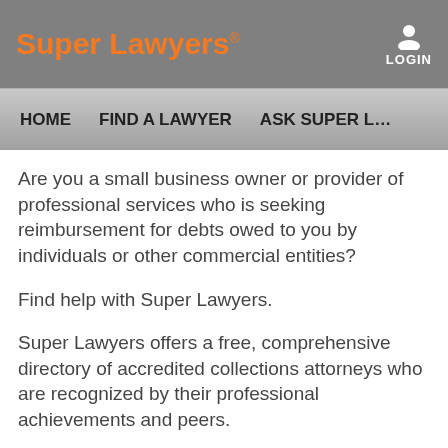Super Lawyers® | HOME | FIND A LAWYER | ASK SUPER L… | LOGIN
Are you a small business owner or provider of professional services who is seeking reimbursement for debts owed to you by individuals or other commercial entities?
Find help with Super Lawyers.
Super Lawyers offers a free, comprehensive directory of accredited collections attorneys who are recognized by their professional achievements and peers.
Collections attorneys can help when other attempts at recovering money owed have failed.
They seek to find acceptable means to satisfy outstanding debts, while enforcing rights under liens, and recovering (cr…